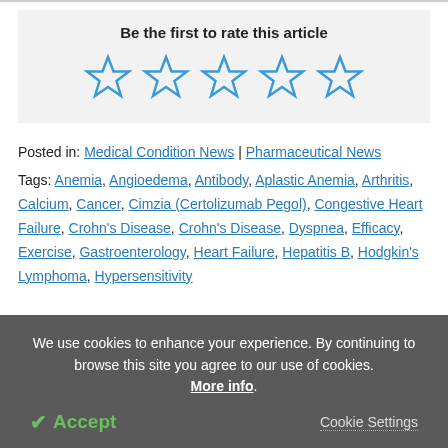[Figure (other): Five empty star rating icons in blue outline]
Be the first to rate this article
Posted in: Medical Condition News | Pharmaceutical News
Tags: Anemia, Angioedema, Antibody, Aplastic Anemia, Arthritis, Calcium, Cancer, Cimzia (Certolizumab Pegol), Congestive Heart Failure, Crohn's Disease, Crohn's Disease, Dyspnea, Efficacy, Exercise, Gastroenterology, Heart Failure, Hepatitis B, Hodgkin's Lymphoma, Hypersensitivity
We use cookies to enhance your experience. By continuing to browse this site you agree to our use of cookies. More info.
✔ Accept
Cookie Settings